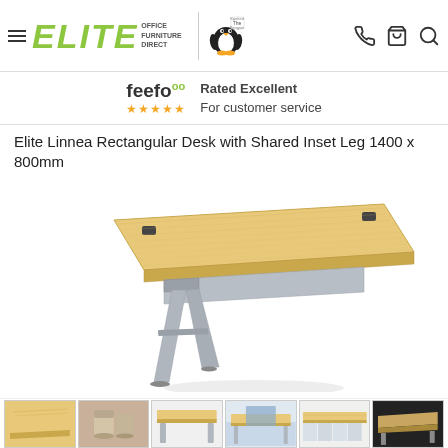Elite Office Furniture Direct | The Spotted Penguin Group
feefo ★★★★★ Rated Excellent For customer service
Elite Linnea Rectangular Desk with Shared Inset Leg 1400 x 800mm
[Figure (photo): Product photo of Elite Linnea Rectangular Desk with Shared Inset Leg 1400 x 800mm — a light maple-finish rectangular desk top supported by silver/grey metal A-frame legs on the front side and a modesty panel, shown at an angle on a white background.]
[Figure (photo): Thumbnail strip showing 6 product images of the desk in various views and settings]